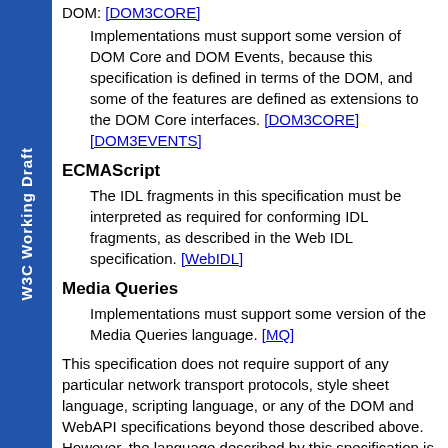W3C Working Draft
DOM: [DOM3CORE]
Implementations must support some version of DOM Core and DOM Events, because this specification is defined in terms of the DOM, and some of the features are defined as extensions to the DOM Core interfaces. [DOM3CORE] [DOM3EVENTS]
ECMAScript
The IDL fragments in this specification must be interpreted as required for conforming IDL fragments, as described in the Web IDL specification. [WebIDL]
Media Queries
Implementations must support some version of the Media Queries language. [MQ]
This specification does not require support of any particular network transport protocols, style sheet language, scripting language, or any of the DOM and WebAPI specifications beyond those described above. However, the language described by this specification is designed to...